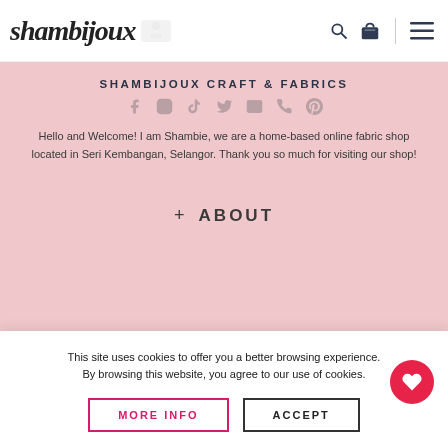[Figure (logo): Shambijoux cursive logo with sewing machine icon placeholder]
SHAMBIJOUX CRAFT & FABRICS
[Figure (infographic): Social media icons: Facebook, Instagram, TikTok, Twitter, Email, Phone, Pinterest]
Hello and Welcome! I am Shambie, we are a home-based online fabric shop located in Seri Kembangan, Selangor. Thank you so much for visiting our shop!
+ ABOUT
This site uses cookies to offer you a better browsing experience. By browsing this website, you agree to our use of cookies.
MORE INFO   ACCEPT